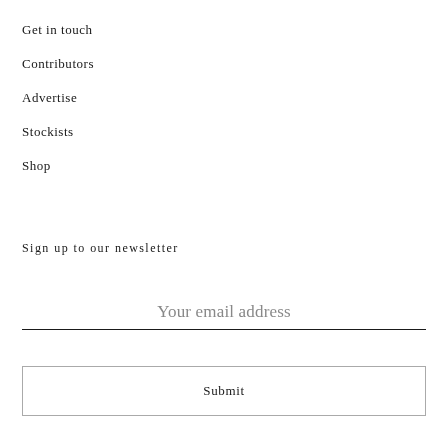Get in touch
Contributors
Advertise
Stockists
Shop
Sign up to our newsletter
Your email address
Submit